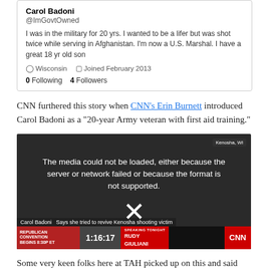[Figure (screenshot): Twitter/X profile card for Carol Badoni (@ImGovtOwned). Bio: 'I was in the military for 20 yrs. I wanted to be a lifer but was shot twice while serving in Afghanistan. I'm now a U.S. Marshal. I have a great 18 yr old son'. Location: Wisconsin. Joined February 2013. 0 Following, 4 Followers.]
CNN furthered this story when CNN's Erin Burnett introduced Carol Badoni as a "20-year Army veteran with first aid training."
[Figure (screenshot): CNN video screenshot showing two women. The video has a media load error overlay reading 'The media could not be loaded, either because the server or network failed or because the format is not supported.' with an X symbol. Lower third shows: 'Carol Badoni - Says she tried to revive Kenosha shooting victim'. Bottom ticker: REPUBLICAN CONVENTION BEGINS 8:30P ET | 1:16:17 | SPEAKING TONIGHT: RUDY GIULIANI | CNN logo. Kenosha, WI badge in top right.]
Some very keen folks here at TAH picked up on this and said